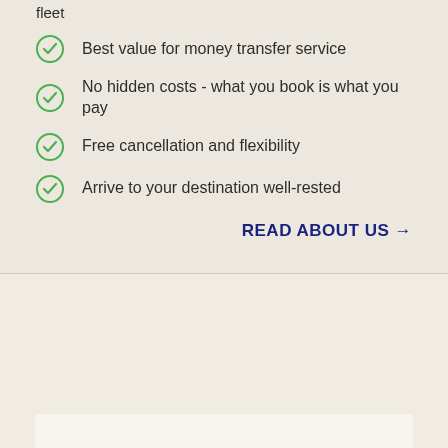fleet
Best value for money transfer service
No hidden costs - what you book is what you pay
Free cancellation and flexibility
Arrive to your destination well-rested
READ ABOUT US →
[Figure (other): Bottom section with a light beige/cream background and a partial white card element visible at the bottom edge]